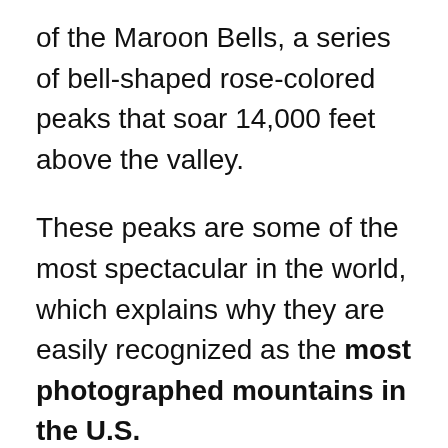of the Maroon Bells, a series of bell-shaped rose-colored peaks that soar 14,000 feet above the valley.
These peaks are some of the most spectacular in the world, which explains why they are easily recognized as the most photographed mountains in the U.S.
And in the winter you can enjoy some